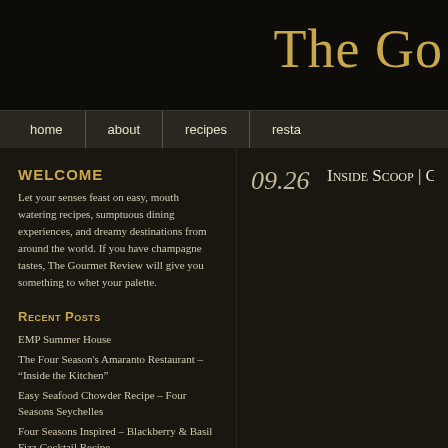The Go[urmet Review]
home | about | recipes | resta[urants]
WELCOME
Let your senses feast on easy, mouth watering recipes, sumptuous dining experiences, and dreamy destinations from around the world. If you have champagne tastes, The Gourmet Review will give you something to whet your palette.
Recent Posts
EMP Summer House
The Four Season's Amaranto Restaurant – “Inside the Kitchen”
Easy Seafood Chowder Recipe – Four Seasons Seychelles
Four Seasons Inspired – Blackberry & Basil Fizz Cocktail Recipe
Wynn Las Vegas Top Cocktail
09.26   INSIDE SCOOP | GEORGE